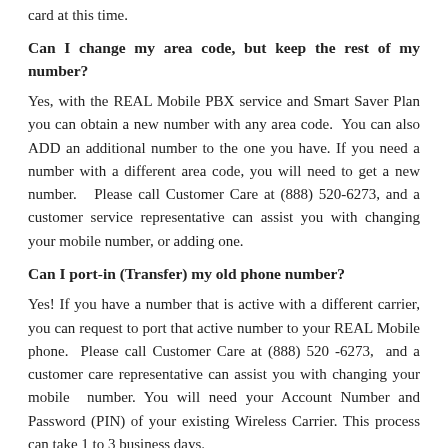card at this time.
Can I change my area code, but keep the rest of my number?
Yes, with the REAL Mobile PBX service and Smart Saver Plan you can obtain a new number with any area code.  You can also ADD an additional number to the one you have. If you need a number with a different area code, you will need to get a new number.   Please call Customer Care at (888) 520-6273, and a customer service representative can assist you with changing your mobile number, or adding one.
Can I port-in (Transfer) my old phone number?
Yes! If you have a number that is active with a different carrier, you can request to port that active number to your REAL Mobile phone.  Please call Customer Care at (888) 520 -6273,  and a customer care representative can assist you with changing your mobile  number. You will need your Account Number and Password (PIN) of your existing Wireless Carrier. This process can take 1 to 3 business days.
I need a number with a different area code, can I change my